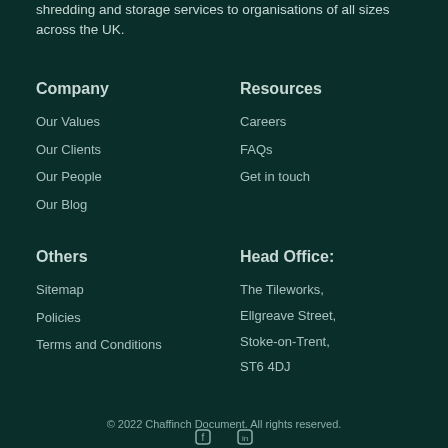shredding and storage services to organisations of all sizes across the UK.
Company
Our Values
Our Clients
Our People
Our Blog
Resources
Careers
FAQs
Get in touch
Others
Sitemap
Policies
Terms and Conditions
Head Office:
The Tileworks, Ellgreave Street, Stoke-on-Trent, ST6 4DJ
© 2022 Chaffinch Document. All rights reserved.